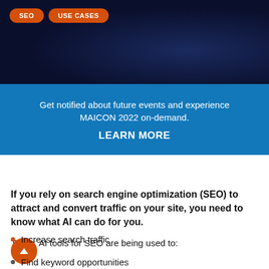SEO  USE CASES
Get notified about future events and experience MAICON 2022 on-demand. LEARN MORE
If you rely on search engine optimization (SEO) to attract and convert traffic on your site, you need to know what AI can do for you.
Today, AI tools for SEO are being used to:
Increase search traffic
Find keyword opportunities